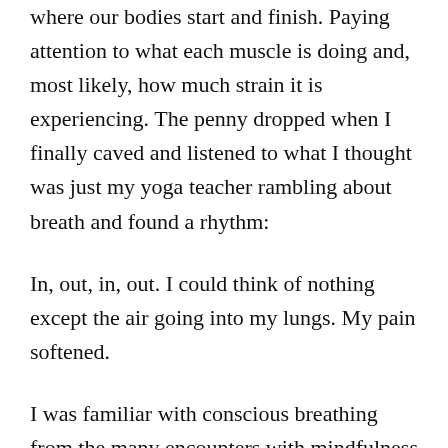where our bodies start and finish. Paying attention to what each muscle is doing and, most likely, how much strain it is experiencing. The penny dropped when I finally caved and listened to what I thought was just my yoga teacher rambling about breath and found a rhythm:
In, out, in, out. I could think of nothing except the air going into my lungs. My pain softened.
I was familiar with conscious breathing from the many encounters with mindfulness I have had since being a teenager. As anyone who has spoken to a professional, a friend, or even